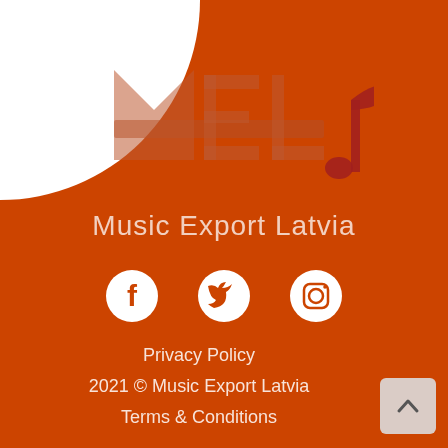[Figure (logo): Music Export Latvia logo: stylized letters MEL with a musical note, in dark red/maroon tones on orange background, with 'Music Export Latvia' text below]
[Figure (infographic): Three social media icons in white: Facebook, Twitter, Instagram]
Privacy Policy
2021 © Music Export Latvia
Terms & Conditions